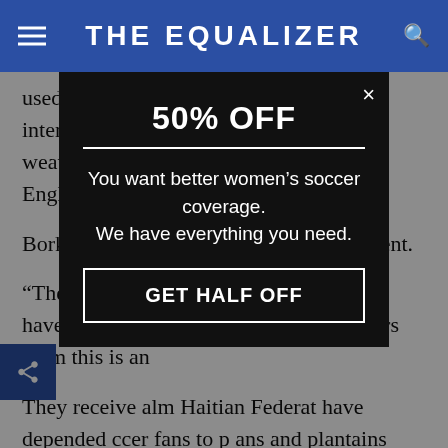THE EQUALIZER
used Robuste as a translator during an interview, but when the subject of the weather came up she answered quickly in English: “I don’t like cold.”
Borkowski describes the players as resilient.
“They’re pretty content with what they have,” he said. “We have a travel six hours them this is an
They receive alm Haitian Federat have depended ccer fans to p ans and plantains they eat. The their equipmen
[Figure (screenshot): Promotional modal popup with black background offering 50% OFF subscription. Text reads: '50% OFF', 'You want better women’s soccer coverage. We have everything you need.' with a 'GET HALF OFF' button.]